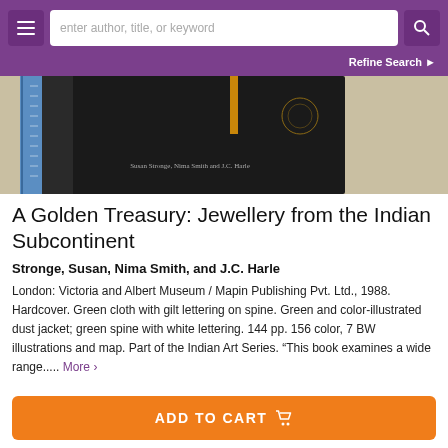enter author, title, or keyword
[Figure (photo): Photo of book cover for 'A Golden Treasury: Jewellery from the Indian Subcontinent' showing the spine and back of a dark hardcover book with a blue ruler on the left side. Text on the book reads: Susan Stronge, Nima Smith and J.C. Harle]
A Golden Treasury: Jewellery from the Indian Subcontinent
Stronge, Susan, Nima Smith, and J.C. Harle
London: Victoria and Albert Museum / Mapin Publishing Pvt. Ltd., 1988. Hardcover. Green cloth with gilt lettering on spine. Green and color-illustrated dust jacket; green spine with white lettering. 144 pp. 156 color, 7 BW illustrations and map. Part of the Indian Art Series. "This book examines a wide range..... More ›